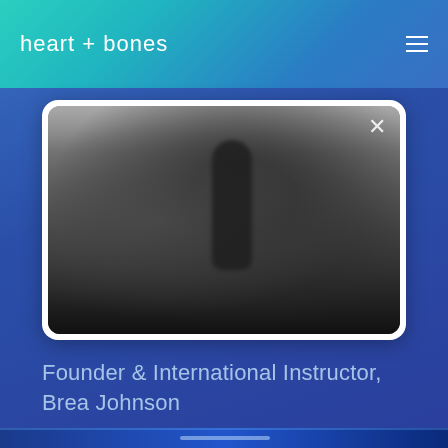heart + bones
[Figure (photo): Blurred/frosted video player showing a dark silhouetted figure in a gym or studio setting, with a close (X) button in the top right corner. The image has a frosted/blurred aesthetic with dark tones at the bottom fading to lighter grey at top.]
Founder & International Instructor, Brea Johnson